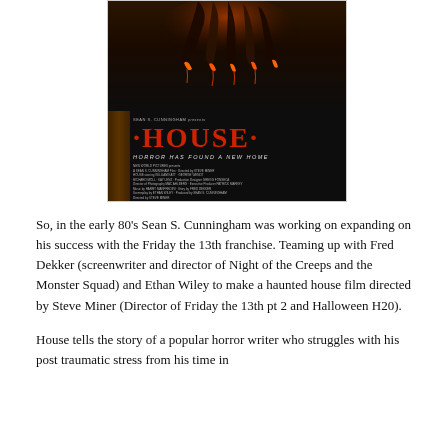[Figure (photo): Movie poster for 'House' (1986). Dark background with monster claws at top. Red title text reads 'HOUSE' with tagline 'Horror Has Found A New Home'. Credits listed below. Bottom reads 'Opens Nationwide February 28th'.]
So, in the early 80's Sean S. Cunningham was working on expanding on his success with the Friday the 13th franchise. Teaming up with Fred Dekker (screenwriter and director of Night of the Creeps and the Monster Squad) and Ethan Wiley to make a haunted house film directed by Steve Miner (Director of Friday the 13th pt 2 and Halloween H20).
House tells the story of a popular horror writer who struggles with his post traumatic stress from his time in